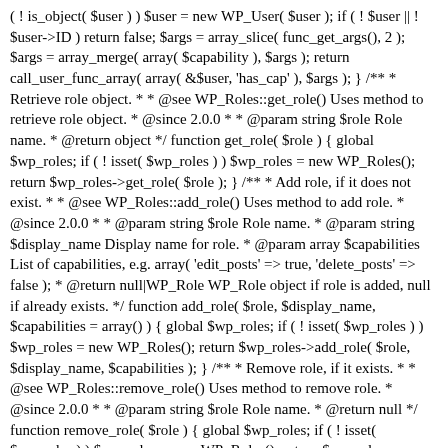( ! is_object( $user ) ) $user = new WP_User( $user ); if ( ! $user || ! $user->ID ) return false; $args = array_slice( func_get_args(), 2 ); $args = array_merge( array( $capability ), $args ); return call_user_func_array( array( &$user, 'has_cap' ), $args ); } /** * Retrieve role object. * * @see WP_Roles::get_role() Uses method to retrieve role object. * @since 2.0.0 * * @param string $role Role name. * @return object */ function get_role( $role ) { global $wp_roles; if ( ! isset( $wp_roles ) ) $wp_roles = new WP_Roles(); return $wp_roles->get_role( $role ); } /** * Add role, if it does not exist. * * @see WP_Roles::add_role() Uses method to add role. * @since 2.0.0 * * @param string $role Role name. * @param string $display_name Display name for role. * @param array $capabilities List of capabilities, e.g. array( 'edit_posts' => true, 'delete_posts' => false ); * @return null|WP_Role WP_Role object if role is added, null if already exists. */ function add_role( $role, $display_name, $capabilities = array() ) { global $wp_roles; if ( ! isset( $wp_roles ) ) $wp_roles = new WP_Roles(); return $wp_roles->add_role( $role, $display_name, $capabilities ); } /** * Remove role, if it exists. * * @see WP_Roles::remove_role() Uses method to remove role. * @since 2.0.0 * * @param string $role Role name. * @return null */ function remove_role( $role ) { global $wp_roles; if ( ! isset( $wp_roles ) ) $wp_roles = new WP_Roles(); return $wp_roles->remove_role( $role ); } /** * Retrieve a list of super admins. * * @since 3.0.0 * * @uses $super_admins Super admins global variable, if set. * * @return